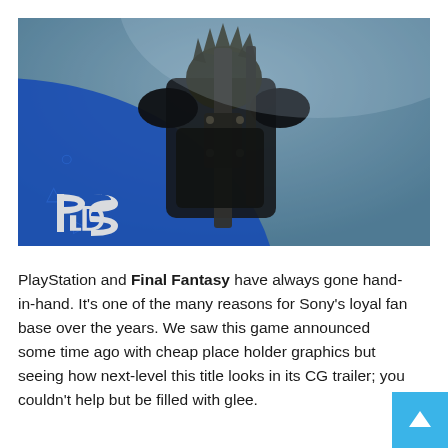[Figure (photo): Final Fantasy VII Remake screenshot showing Cloud Strife from behind with his large buster sword on his back, set against a blue-tinted environment. PlayStation logo (the PS symbol) is visible in the lower-left corner of the image.]
PlayStation and Final Fantasy have always gone hand-in-hand. It's one of the many reasons for Sony's loyal fan base over the years. We saw this game announced some time ago with cheap place holder graphics but seeing how next-level this title looks in its CG trailer; you couldn't help but be filled with glee.